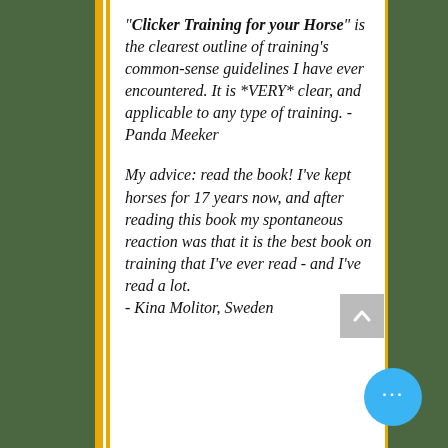"Clicker Training for your Horse" is the clearest outline of training's common-sense guidelines I have ever encountered. It is *VERY* clear, and applicable to any type of training. - Panda Meeker

My advice: read the book! I've kept horses for 17 years now, and after reading this book my spontaneous reaction was that it is the best book on training that I've ever read - and I've read a lot. - Kina Molitor, Sweden